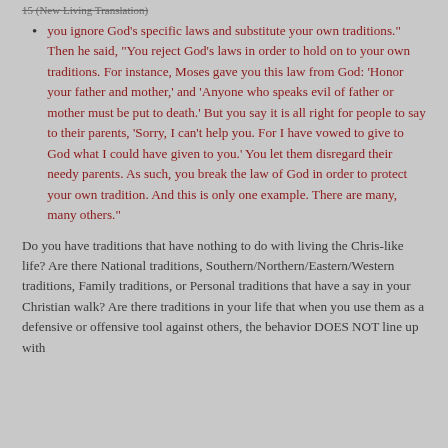15 (New Living Translation)
you ignore God's specific laws and substitute your own traditions." Then he said, "You reject God's laws in order to hold on to your own traditions. For instance, Moses gave you this law from God: 'Honor your father and mother,' and 'Anyone who speaks evil of father or mother must be put to death.' But you say it is all right for people to say to their parents, 'Sorry, I can't help you. For I have vowed to give to God what I could have given to you.' You let them disregard their needy parents. As such, you break the law of God in order to protect your own tradition. And this is only one example. There are many, many others."
Do you have traditions that have nothing to do with living the Chris-like life? Are there National traditions, Southern/Northern/Eastern/Western traditions, Family traditions, or Personal traditions that have a say in your Christian walk? Are there traditions in your life that when you use them as a defensive or offensive tool against others, the behavior DOES NOT line up with